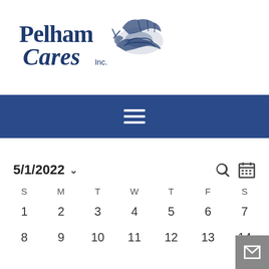[Figure (logo): Pelham Cares Inc. logo with two hands shaking and stylized text in navy blue]
[Figure (other): Navigation bar with hamburger menu icon on dark blue background]
5/1/2022
| S | M | T | W | T | F | S |
| --- | --- | --- | --- | --- | --- | --- |
| 1 | 2 | 3 | 4 | 5 | 6 | 7 |
| 8 | 9 | 10 | 11 | 12 | 13 | 14 |